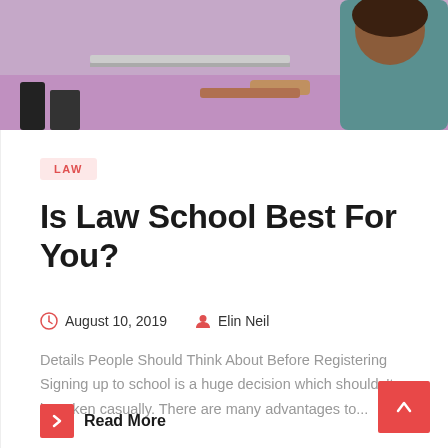[Figure (photo): Photo of students working on laptops at a purple/pink desk in a school setting]
LAW
Is Law School Best For You?
August 10, 2019   Elin Neil
Details People Should Think About Before Registering Signing up to school is a huge decision which shouldn't be taken casually. There are many advantages to...
Read More